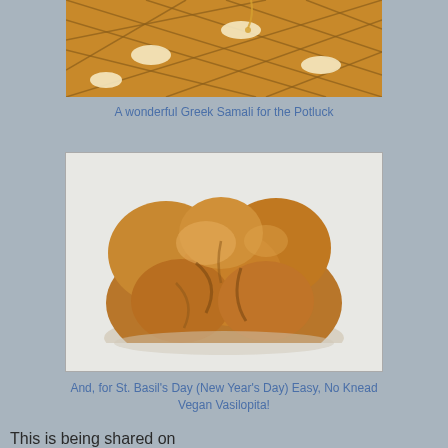[Figure (photo): Close-up photo of Greek Samali (semolina cake) with diamond grid pattern cut into top, garnished with whole almonds, golden brown color]
A wonderful Greek Samali for the Potluck
[Figure (photo): Photo of a round braided bread (Vasilopita) sitting on white cloth, golden brown, twisted/knotted shape]
And, for St. Basil's Day (New Year's Day) Easy, No Knead Vegan Vasilopita!
This is being shared on